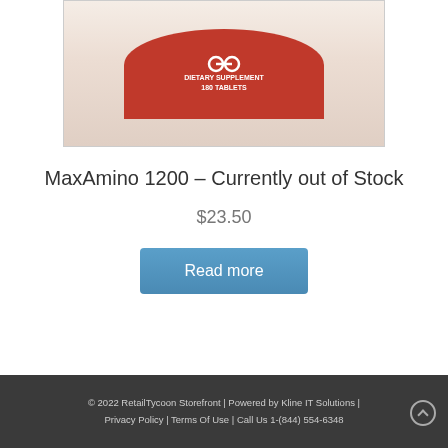[Figure (photo): Product image of MaxAmino 1200 supplement bottle, showing top portion with red arc label reading 'DIETARY SUPPLEMENT 180 TABLETS' on a cream/beige background]
MaxAmino 1200 – Currently out of Stock
$23.50
Read more
© 2022 RetailTycoon Storefront | Powered by Kline IT Solutions | Privacy Policy | Terms Of Use | Call Us 1-(844) 554-6348